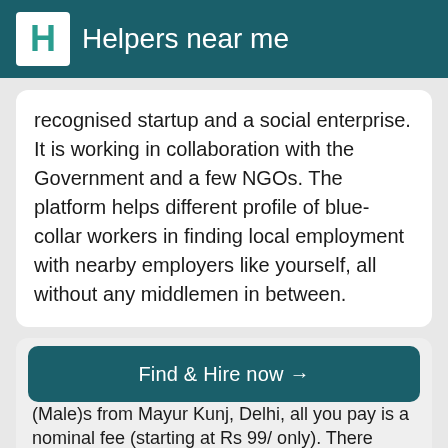Helpers near me
recognised startup and a social enterprise. It is working in collaboration with the Government and a few NGOs. The platform helps different profile of blue-collar workers in finding local employment with nearby employers like yourself, all without any middlemen in between.
5) While connecting with the Full Day Helper (Male)s in Mayur Kunj, Delhi, is there any commission involved in between?
Find & Hire now →
(Male)s from Mayur Kunj, Delhi, all you pay is a nominal fee (starting at Rs 99/ only). There